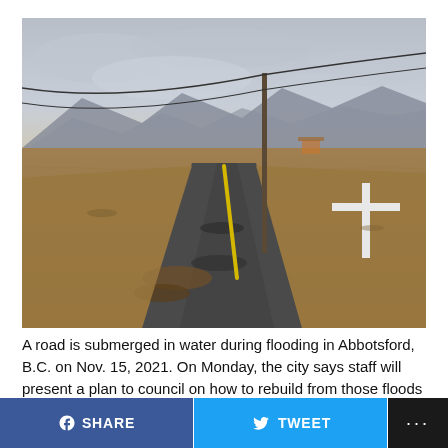[Figure (photo): A flooded road in Abbotsford, B.C. on Nov. 15, 2021. Brown floodwater covers agricultural fields. A road with a yellow center line is partially submerged. A white cross road sign is visible on the right side. Power lines and mountains are visible in the background under a grey overcast sky.]
A road is submerged in water during flooding in Abbotsford, B.C. on Nov. 15, 2021. On Monday, the city says staff will present a plan to council on how to rebuild from those floods and prepare for future risks. (Ben